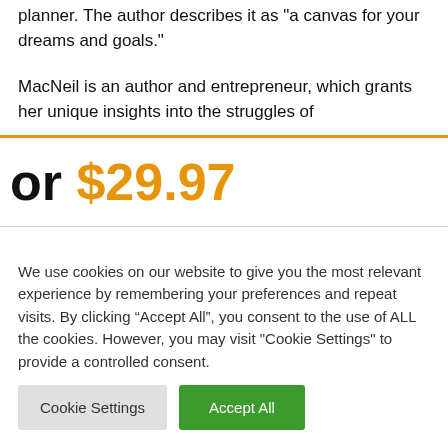planner. The author describes it as "a canvas for your dreams and goals."
MacNeil is an author and entrepreneur, which grants her unique insights into the struggles of
or $29.97
We use cookies on our website to give you the most relevant experience by remembering your preferences and repeat visits. By clicking “Accept All”, you consent to the use of ALL the cookies. However, you may visit "Cookie Settings" to provide a controlled consent.